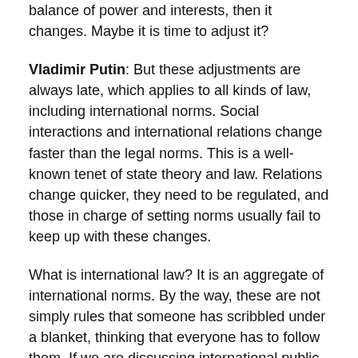balance of power and interests, then it changes. Maybe it is time to adjust it?
Vladimir Putin: But these adjustments are always late, which applies to all kinds of law, including international norms. Social interactions and international relations change faster than the legal norms. This is a well-known tenet of state theory and law. Relations change quicker, they need to be regulated, and those in charge of setting norms usually fail to keep up with these changes.
What is international law? It is an aggregate of international norms. By the way, these are not simply rules that someone has scribbled under a blanket, thinking that everyone has to follow them. If we are discussing international public law, the norms governing interstate relations have to be coordinated and agreed upon: you sign them, assume obligations and honour them. If today's world order hinges upon sovereignty, this means that if someone does not sign a document, you cannot demand that this state complies with